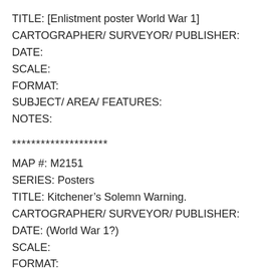TITLE: [Enlistment poster World War 1]
CARTOGRAPHER/ SURVEYOR/ PUBLISHER:
DATE:
SCALE:
FORMAT:
SUBJECT/ AREA/ FEATURES:
NOTES:
********************
MAP #: M2151
SERIES: Posters
TITLE: Kitchener’s Solemn Warning.
CARTOGRAPHER/ SURVEYOR/ PUBLISHER:
DATE: (World War 1?)
SCALE:
FORMAT: